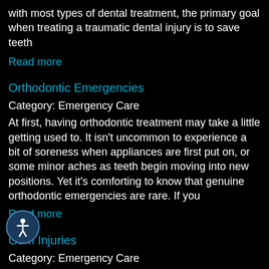with most types of dental treatment, the primary goal when treating a traumatic dental injury is to save teeth
Read more
Orthodontic Emergencies
Category: Emergency Care
At first, having orthodontic treatment may take a little getting used to. It isn't uncommon to experience a bit of soreness when appliances are first put on, or some minor aches as teeth begin moving into new positions. Yet it's comforting to know that genuine orthodontic emergencies are rare. If you
Read more
Gum Injuries
Category: Emergency Care
When dental emergencies and pain occur, our attention is often focused on diseases and injuries related to the teeth. However, important to remember that the soft tissues of the mouth — gums, tongue, lips and cheek lining — may also be affected. While they are tough enough to stand up to